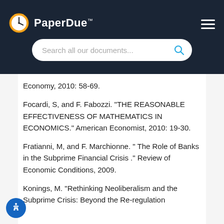[Figure (logo): PaperDue logo with clock icon and search bar on dark navy background]
Economy, 2010: 58-69.
Focardi, S, and F. Fabozzi. "THE REASONABLE EFFECTIVENESS OF MATHEMATICS IN ECONOMICS." American Economist, 2010: 19-30.
Fratianni, M, and F. Marchionne. " The Role of Banks in the Subprime Financial Crisis ." Review of Economic Conditions, 2009.
Konings, M. "Rethinking Neoliberalism and the Subprime Crisis: Beyond the Re-regulation